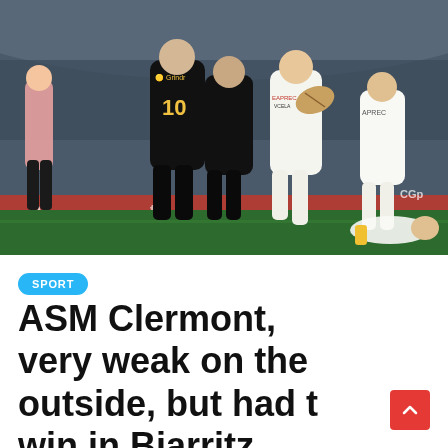[Figure (photo): Rugby match action photo showing players in black (wearing number 10 jersey with Grindr logo) and white/yellow jerseys competing for the ball on a floodlit stadium pitch. Multiple players visible, some tackling, with advertising boards in the background.]
SPORT
ASM Clermont, very weak on the outside, but had to win in Biarritz